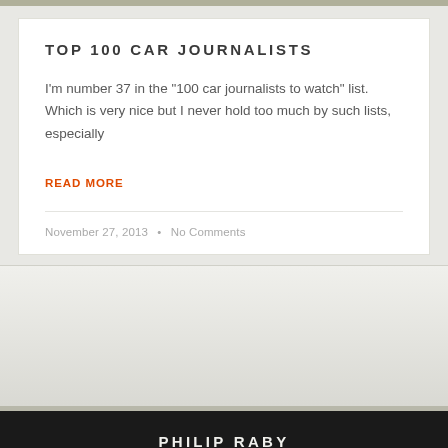TOP 100 CAR JOURNALISTS
I'm number 37 in the "100 car journalists to watch" list.  Which is very nice but I never hold too much by such lists, especially
READ MORE
November 27, 2013 · No Comments
PHILIP RABY